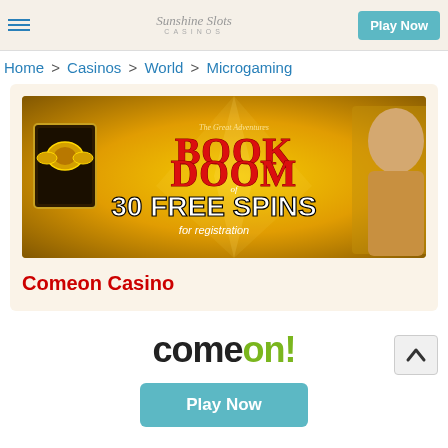Sunshine Slots Casinos — Play Now
Home > Casinos > World > Microgaming
[Figure (illustration): Book of Doom casino banner — golden background with Book of Doom logo, text '30 FREE SPINS for registration', a man in brown jacket on the right]
Comeon Casino
[Figure (logo): ComeOn! casino logo in large bold text, 'come' in dark gray and 'on!' in green]
Play Now